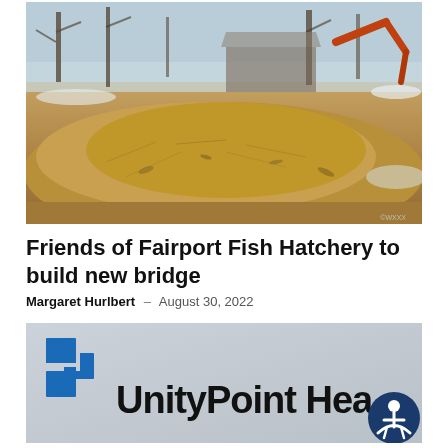[Figure (photo): Outdoor winter scene showing a large pile of wood chips, mulch, and debris. In the background there are bare trees, snow on the ground, and what appears to be construction or demolition equipment (orange machinery). A dilapidated structure is visible in the background.]
Friends of Fairport Fish Hatchery to build new bridge
Margaret Hurlbert – August 30, 2022
[Figure (photo): Close-up of a UnityPoint Health sign/logo on a light gray background. The logo shows blue interlocking rectangular shapes on the left and the text 'UnityPoint Heal...' (partially cropped). An accessibility icon (person in circle) button is visible in the bottom right corner.]